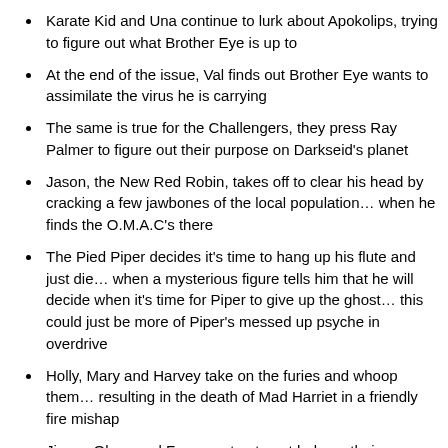Karate Kid and Una continue to lurk about Apokolips, trying to figure out what Brother Eye is up to
At the end of the issue, Val finds out Brother Eye wants to assimilate the virus he is carrying
The same is true for the Challengers, they press Ray Palmer to figure out their purpose on Darkseid's planet
Jason, the New Red Robin, takes off to clear his head by cracking a few jawbones of the local population… when he finds the O.M.A.C's there
The Pied Piper decides it's time to hang up his flute and just die… when a mysterious figure tells him that he will decide when it's time for Piper to give up the ghost… this could just be more of Piper's messed up psyche in overdrive
Holly, Mary and Harvey take on the furies and whoop them… resulting in the death of Mad Harriet in a friendly fire mishap
Jimmy Olsen and Forager stop to get help on their way